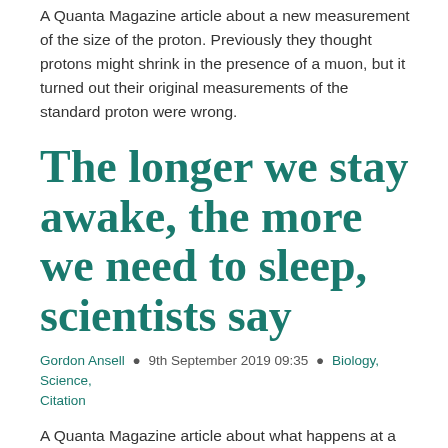A Quanta Magazine article about a new measurement of the size of the proton. Previously they thought protons might shrink in the presence of a muon, but it turned out their original measurements of the standard proton were wrong.
The longer we stay awake, the more we need to sleep, scientists say
Gordon Ansell • 9th September 2019 09:35 • Biology, Science, Citation
A Quanta Magazine article about what happens at a cellular level during sleep. Apparently a process called phosphorylation helps us file memories